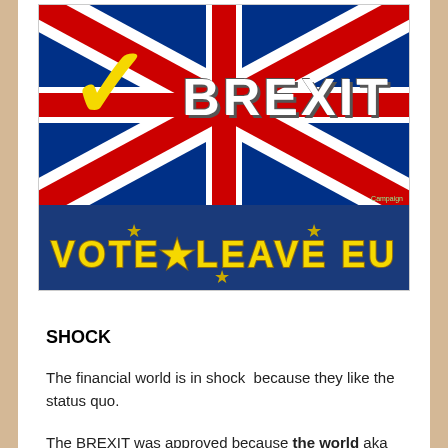[Figure (illustration): Brexit campaign image featuring the Union Jack flag with 'BREXIT' written in large white bold letters, a yellow checkmark, and a blue banner at the bottom reading 'VOTE LEAVE EU' in large yellow letters with gold stars.]
SHOCK
The financial world is in shock  because they like the status quo.
The BREXIT was approved because the world aka the 99% including Britain wants change, any kind of change.  Which of course explains Donald Trump's